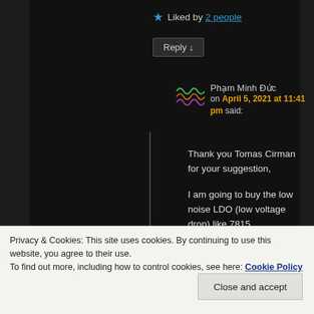★ Liked by 2 people
Reply ↓
Phạm Minh Đức on April 5, 2021 at 11:41 pm said:
Thank you Tomas Cirman for your suggestion,

I am going to buy the low noise LDO (low voltage drop) like 7815,
Privacy & Cookies: This site uses cookies. By continuing to use this website, you agree to their use.
To find out more, including how to control cookies, see here: Cookie Policy
Close and accept